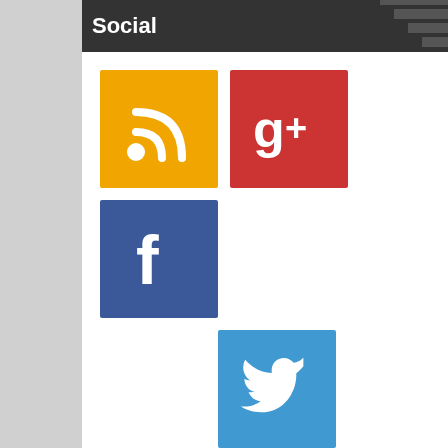Social
[Figure (infographic): Four social media icon buttons: RSS (orange), Google+ (red), Facebook (blue), Twitter (light blue)]
Search here..
Popular Posts
[Figure (infographic): Thumbnail image with red zigzag line chart icon]
Test: Check This Testing
May 08, 2021